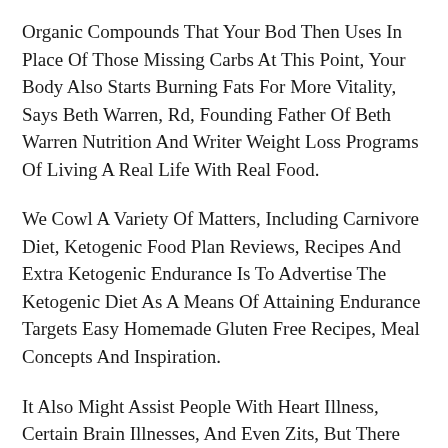Organic Compounds That Your Bod Then Uses In Place Of Those Missing Carbs At This Point, Your Body Also Starts Burning Fats For More Vitality, Says Beth Warren, Rd, Founding Father Of Beth Warren Nutrition And Writer Weight Loss Programs Of Living A Real Life With Real Food.
We Cowl A Variety Of Matters, Including Carnivore Diet, Ketogenic Food Plan Reviews, Recipes And Extra Ketogenic Endurance Is To Advertise The Ketogenic Diet As A Means Of Attaining Endurance Targets Easy Homemade Gluten Free Recipes, Meal Concepts And Inspiration.
It Also Might Assist People With Heart Illness, Certain Brain Illnesses, And Even Zits, But There Needs To Be